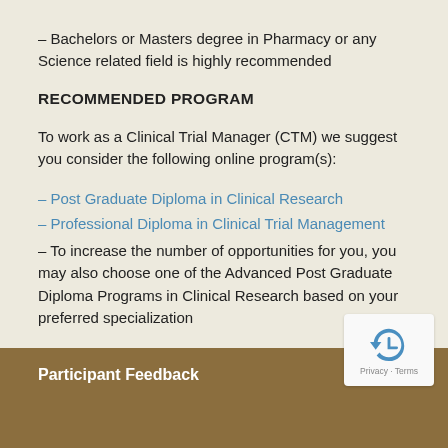– Bachelors or Masters degree in Pharmacy or any Science related field is highly recommended
RECOMMENDED PROGRAM
To work as a Clinical Trial Manager (CTM) we suggest you consider the following online program(s):
– Post Graduate Diploma in Clinical Research
– Professional Diploma in Clinical Trial Management
– To increase the number of opportunities for you, you may also choose one of the Advanced Post Graduate Diploma Programs in Clinical Research based on your preferred specialization
Participant Feedback